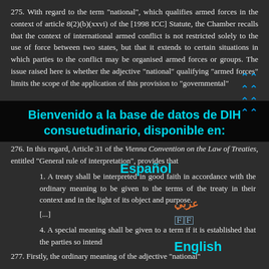275. With regard to the term "national", which qualifies armed forces in the context of article 8(2)(b)(xxvi) of the [1998 ICC] Statute, the Chamber recalls that the context of international armed conflict is not restricted solely to the use of force between two states, but that it extends to certain situations in which parties to the conflict may be organised armed forces or groups. The issue raised here is whether the adjective "national" qualifying "armed forces" limits the scope of the application of this provision to "governmental"
276. In this regard, Article 31 of the Vienna Convention on the Law of Treaties, entitled "General rule of interpretation", provides that
1. A treaty shall be interpreted in good faith in accordance with the ordinary meaning to be given to the terms of the treaty in their context and in the light of its object and purpose.
[...]
4. A special meaning shall be given to a term if it is established that the parties so intend
277. Firstly, the ordinary meaning of the adjective "national"